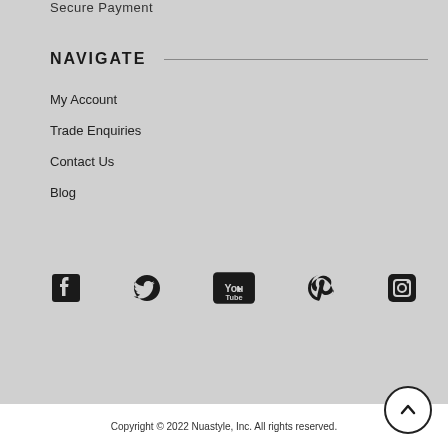Secure Payment
NAVIGATE
My Account
Trade Enquiries
Contact Us
Blog
[Figure (infographic): Social media icons: Facebook, Twitter, YouTube, Pinterest, Instagram]
Copyright © 2022 Nuastyle, Inc. All rights reserved.